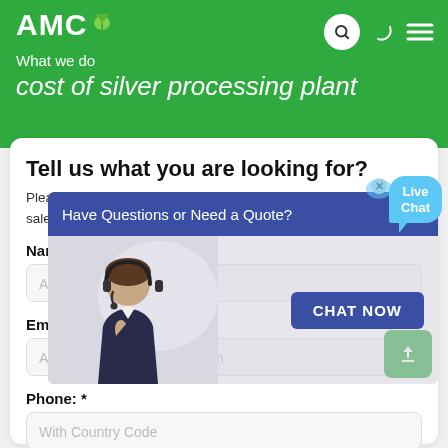AMC — What we do
cost of silver processing plant
Tell us what you are looking for?
Please complete and submit the following form and our sales team will contact you shortly with our best prices.
Name: *
As: Tom
Email: *
As: vip@shanghaimeilan.com
Phone: *
With Country Code
[Figure (screenshot): Live chat popup overlay with agent photo, 'Have Questions or Need a Quote?' bar, and CHAT NOW button. Live Chat speech bubble in top right corner.]